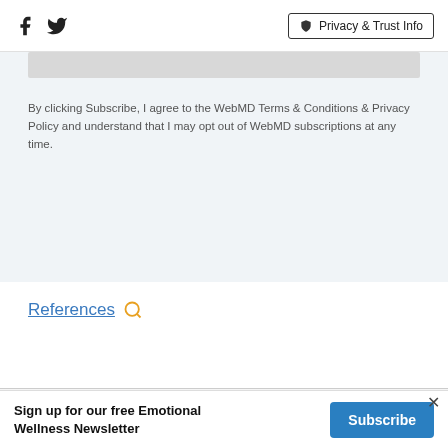Facebook Twitter | Privacy & Trust Info
By clicking Subscribe, I agree to the WebMD Terms & Conditions & Privacy Policy and understand that I may opt out of WebMD subscriptions at any time.
References
Subscribe   About Us   Privacy Policy   ADVERTISEMENT
Sign up for our free Emotional Wellness Newsletter